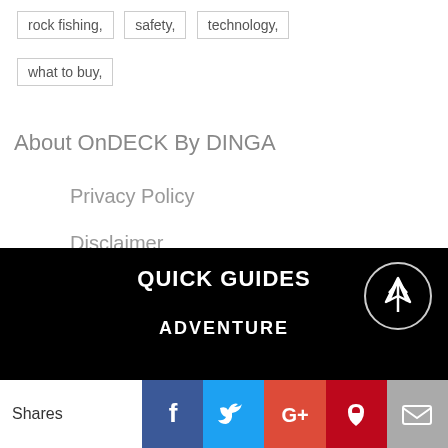rock fishing,
safety,
technology,
what to buy,
About OnDECK By DINGA
Privacy Policy
Disclaimer
Dinga Online
QUICK GUIDES
ADVENTURE
Shares